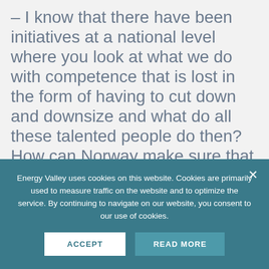– I know that there have been initiatives at a national level where you look at what we do with competence that is lost in the form of having to cut down and downsize and what do all these talented people do then? How can Norway make sure that those resources and that the competence is managed in a good way? We need to secure and build competence and one way to do this is through clusters and collaboration. I also strongly believe in collaboration between industry and academia which will accelerate innovation and competence.
Energy Valley uses cookies on this website. Cookies are primarily used to measure traffic on the website and to optimize the service. By continuing to navigate on our website, you consent to our use of cookies.